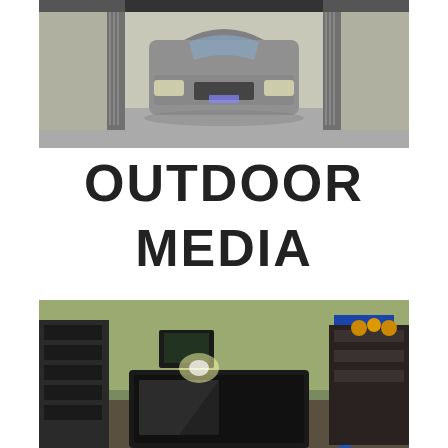[Figure (photo): A grey SUV / crossover vehicle parked inside a workshop or garage with metal shutters/doors visible on both sides.]
OUTDOOR MEDIA
[Figure (photo): Interior of a workshop or storage facility with electronic equipment, monitors, shelves, and a large dark rectangular enclosure in the foreground, with a blue hydraulic lift visible in the background right.]